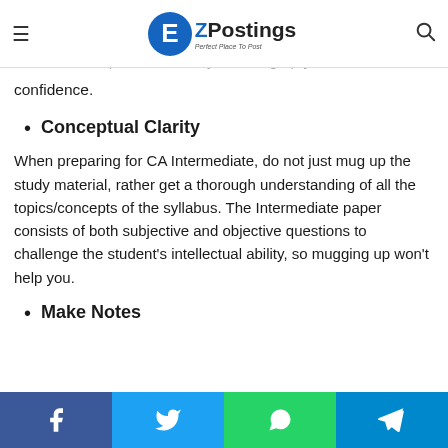EZPostings — Perfect Place To Post
be done systematically and not in a haphazard manner as it helps in better understanding and proper retention of topics, eventually boosting up your confidence.
Conceptual Clarity
When preparing for CA Intermediate, do not just mug up the study material, rather get a thorough understanding of all the topics/concepts of the syllabus. The Intermediate paper consists of both subjective and objective questions to challenge the student's intellectual ability, so mugging up won't help you.
Make Notes